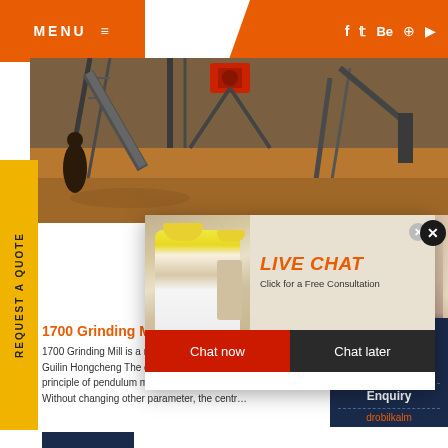MENU ≡   f  t  Be  ⊕  ▶
[Figure (photo): Industrial mining/grinding facility with conveyor belts, steel structures, and red machinery against an orange earth background]
REQUEST A QUOTE
[Figure (screenshot): Live chat popup with workers in hard hats, orange LIVE CHAT heading, subtext 'Click for a Free Consultation', Chat now (red) and Chat later (dark) buttons, and a customer service woman with headset on the right]
Have any requests, click here.
Quote
Enquiry
drobilkalm
1700 Grinding Mill, Raymond Roller Mill, Pen...
1700 Grinding Mill is a newly developed lar... Guilin Hongcheng The equipment referenc... principle of pendulum mill and improved the s... Without changing other parameter, the centr...